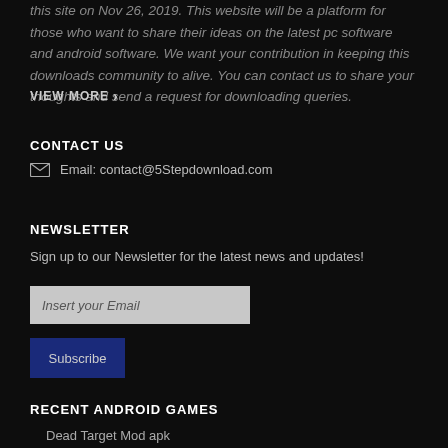this site on Nov 26, 2019. This website will be a platform for those who want to share their ideas on the latest pc software and android software. We want your contribution in keeping this downloads community to alive. You can contact us to share your thoughts and send a request for downloading queries.
VIEW MORE ›
CONTACT US
Email: contact@5Stepdownload.com
NEWSLETTER
Sign up to our Newsletter for the latest news and updates!
Insert your Email
Subscribe
RECENT ANDROID GAMES
Dead Target Mod apk